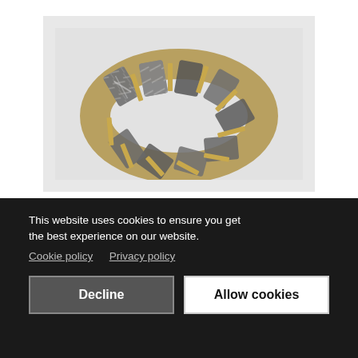[Figure (photo): A bracelet made of rectangular panels of dark grey and white marbled stone (possibly mica or slate), connected by gold-colored metal links, displayed on a light grey background.]
This website uses cookies to ensure you get the best experience on our website.
Cookie policy   Privacy policy
Decline
Allow cookies